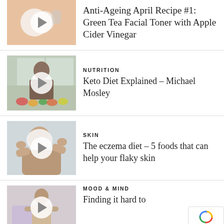[Figure (screenshot): Thumbnail of white face pads and bottle on peach background with play button]
Anti-Ageing April Recipe #1: Green Tea Facial Toner with Apple Cider Vinegar
[Figure (screenshot): Thumbnail of man with vegetables on table, indoors, with play button]
NUTRITION
Keto Diet Explained – Michael Mosley
[Figure (screenshot): Thumbnail of woman holding white cloth over face against light background with play button]
SKIN
The eczema diet – 5 foods that can help your flaky skin
[Figure (screenshot): Thumbnail of person in casual clothes against light purple background with play button]
MOOD & MIND
Finding it hard to ...? This is interesting